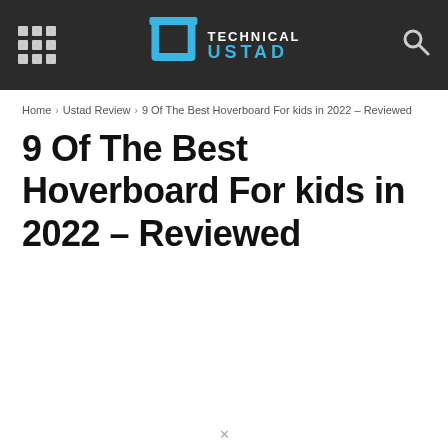Technical Ustad — site navigation header with grid menu icon and search icon
Home › Ustad Review › 9 Of The Best Hoverboard For kids in 2022 – Reviewed
9 Of The Best Hoverboard For kids in 2022 – Reviewed